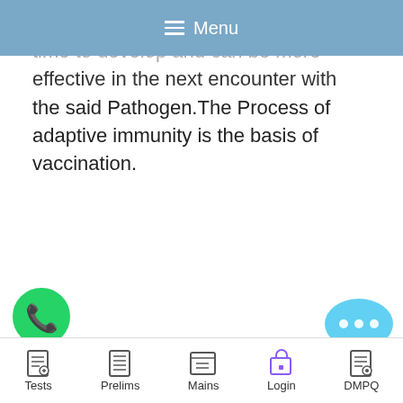Menu
the lifetime of an organism. It takes time to develop and can be more effective in the next encounter with the said Pathogen.The Process of adaptive immunity is the basis of vaccination.
Vaccination or immunization:-
Vaccination or immunization is based on the property of the memory of the immune system. In vaccination,
[Figure (other): YouTube play button red icon]
[Figure (other): WhatsApp green phone icon]
[Figure (other): Chat bubble with ellipsis icon]
Tests   Prelims   Mains   Login   DMPQ